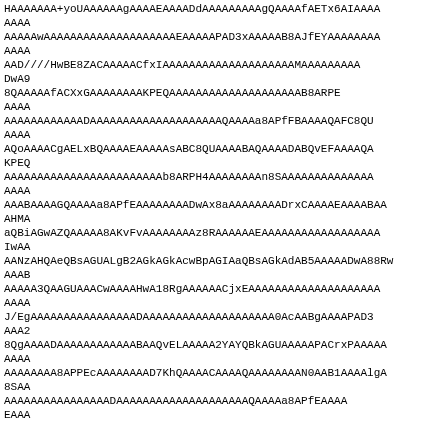HAAAAAAA+yoUAAAAAAgAAAAEAAAADdAAAAAAAAAgQAAAAfAETx6AIAAAA
AAAA
AAAAAwAAAAAAAAAAAAAAAAAAAAEAAAAAPAD3xAAAAAB8AJfEYAAAAAAAA
AAAA
AAD////HwBE8ZACAAAAACfxIAAAAAAAAAAAAAAAAAAAAMAAAAAAAAA
DwA9
8QAAAAAfACXxGAAAAAAAAKPEQAAAAAAAAAAAAAAAAAAAAB8ARPE
AAAA
AAAAAAAAAAAADAAAAAAAAAAAAAAAAAAAAQAAAAA8APfFBAAAAQAFC8QU
AAAA
AQoAAAACgAELxBQAAAAEAAAAAsABC8QUAAAABAQAAAADABQvEFAAAAQA
KPEQ
AAAAAAAAAAAAAAAAAAAAAAAAB8ARPH4AAAAAAAAn8SAAAAAAAAAAAAAA
AAAA
AAABAAAAGQAAAAA8APfEAAAAAAAADwAx8aAAAAAAAADrxCAAAAEAAAABAA
AHMA
aQBiAGwAZQAAAAA8AKvFvAAAAAAAAz8RAAAAAAEAAAAAAAAAAAAAAAAAA
IwAA
AANzAHQAeQBsAGUALgB2AGkAGkAcwBpAGIAaQBsAGkAdAB5AAAAADwA88Rw
AAAB
AAAAA3QAAGUAAACwAAAAHwA18RgAAAAAACjxEAAAAAAAAAAAAAAAAAAAA
AAAA
J/EgAAAAAAAAAAAAAAAADAAAAAAAAAAAAAAAAAAAA0AcAABgAAAAPAD3
AAA2
8QgAAAADAAAAAAAAAAAABAAQvELAAAAA2YAYQBkAGUAAAAAPACrxPAAAAA
AAAA
AAAAAAAAA8APPEcAAAAAAAAD7KhQAAAACAAAAQAAAAAAAAN0AAB1AAAAlgA
8SAA
AAAAAAAAAAAAAAAADAAAAAAAAAAAAAAAAAAAAQAAAAA8APfEAAAA
EAAA